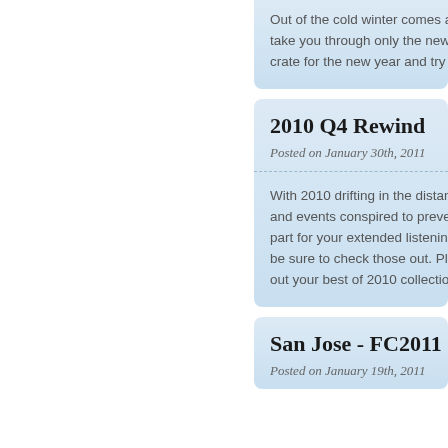Out of the cold winter comes all w... take you through only the newest... crate for the new year and try kee...
2010 Q4 Rewind
Posted on January 30th, 2011
With 2010 drifting in the distance... and events conspired to prevent s... part for your extended listening pl... be sure to check those out. Plenty... out your best of 2010 collection!
San Jose - FC2011
Posted on January 19th, 2011